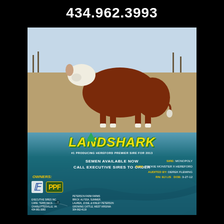434.962.3993
[Figure (photo): Hereford bull (Landshark) standing in a field, red/brown body with white face and white legs, outdoor winter background with bare trees]
LANDSHARK
#1 PRODUCING HEREFORD PREMIER SIRE FOR 2013
SEMEN AVAILABLE NOW
CALL EXECUTIVE SIRES TO ORDER
OWNERS:
[Figure (logo): Executive Sires Inc. logo - stylized E in script]
[Figure (logo): PPF - Peterson Farm Farms logo in yellow and green]
EXECUTIVE SIRES INC.
CARE: TERRONICS
CHARLOTTESVILLE, VA
434-981-3083
PETERSON FARM FARMS
BRICK: ALYSSA, SUMMER,
LAUREN, JOSIE, & KINLEY PETERSON
Growing CATTLE, WEST VIRGINIA
304-962-4119
SIRE: MONOPOLY
DAM: COOKIE MONSTER X HEREFORD
AUDITED BY: DEREK FLEMING
RN: BJ LIS  DOB: 3-27-12